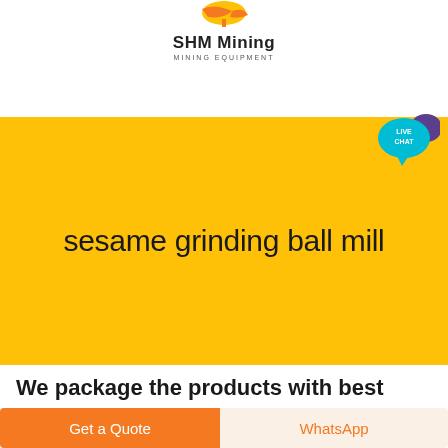[Figure (logo): SHM Mining logo with orange/yellow pickaxe icon, brand name 'SHM Mining' and subtitle 'MINING EQUIPMENT']
[Figure (screenshot): Black navigation bar with a teal 'LIVE CHAT' speech bubble icon in the upper right corner]
sesame grinding ball mill
We package the products with best
Get a Quote
WhatsApp